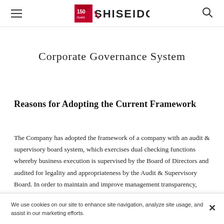Shiseido 150 — Corporate Governance System
Corporate Governance System
Reasons for Adopting the Current Framework
The Company has adopted the framework of a company with an audit & supervisory board system, which exercises dual checking functions whereby business execution is supervised by the Board of Directors and audited for legality and appropriateness by the Audit & Supervisory Board. In order to maintain and improve management transparency, fairness, and speed as per the basic
We use cookies on our site to enhance site navigation, analyze site usage, and assist in our marketing efforts.